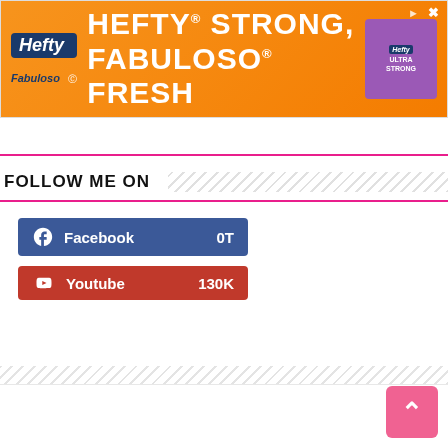[Figure (infographic): Hefty and Fabuloso advertisement banner: orange background with text 'HEFTY STRONG, FABULOSO FRESH' in white, product imagery on right, Hefty and Fabuloso logos on left]
[Figure (infographic): Navigation tab area with up-arrow caret, pink bottom border]
FOLLOW ME ON
[Figure (infographic): Facebook button (blue) showing '0T' followers and Youtube button (red) showing '130K' subscribers]
[Figure (infographic): Pink back-to-top arrow button at bottom right]